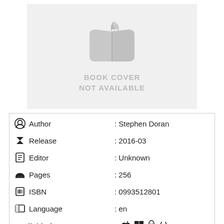[Figure (illustration): Book cover placeholder with open book icon and text 'BOOK COVER NOT AVAILABLE' on a light gray background]
| Author | Stephen Doran |
| Release | 2016-03 |
| Editor | Unknown |
| Pages | 256 |
| ISBN | 0993512801 |
| Language | en |
| Available for | : [Apple, Windows, Linux, Android icons] |